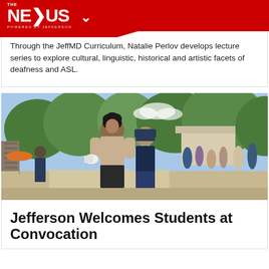THE NEXUS POWERED BY JEFFERSON
Through the JeffMD Curriculum, Natalie Perlov develops lecture series to explore cultural, linguistic, historical and artistic facets of deafness and ASL.
[Figure (photo): Students walking outdoors on a campus path during a convocation event; two young men in the foreground, groups of people socializing in the background amid trees and buildings.]
Jefferson Welcomes Students at Convocation